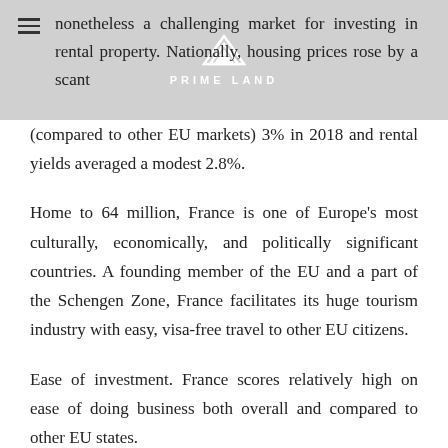PRIME LAND
nonetheless a challenging market for investing in rental property. Nationally, housing prices rose by a scant (compared to other EU markets) 3% in 2018 and rental yields averaged a modest 2.8%.
Home to 64 million, France is one of Europe's most culturally, economically, and politically significant countries. A founding member of the EU and a part of the Schengen Zone, France facilitates its huge tourism industry with easy, visa-free travel to other EU citizens.
Ease of investment. France scores relatively high on ease of doing business both overall and compared to other EU states.